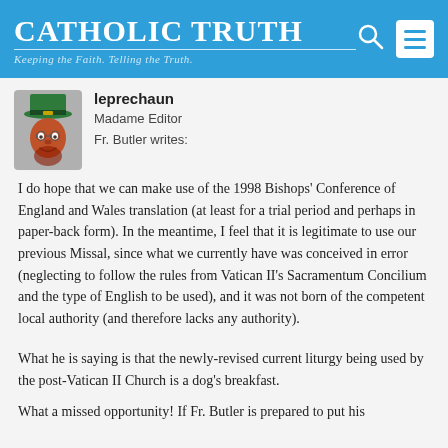Catholic Truth – Keeping the Faith. Telling the Truth.
leprechaun
Madame Editor
Fr. Butler writes:
I do hope that we can make use of the 1998 Bishops' Conference of England and Wales translation (at least for a trial period and perhaps in paper-back form). In the meantime, I feel that it is legitimate to use our previous Missal, since what we currently have was conceived in error (neglecting to follow the rules from Vatican II's Sacramentum Concilium and the type of English to be used), and it was not born of the competent local authority (and therefore lacks any authority).
What he is saying is that the newly-revised current liturgy being used by the post-Vatican II Church is a dog's breakfast.
What a missed opportunity! If Fr. Butler is prepared to put his